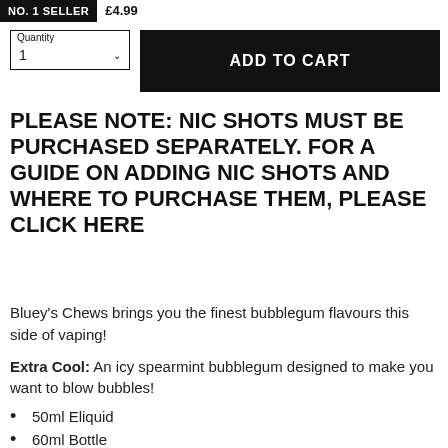ADD TO CART
PLEASE NOTE: NIC SHOTS MUST BE PURCHASED SEPARATELY. FOR A GUIDE ON ADDING NIC SHOTS AND WHERE TO PURCHASE THEM, PLEASE CLICK HERE
Bluey's Chews brings you the finest bubblegum flavours this side of vaping!
Extra Cool: An icy spearmint bubblegum designed to make you want to blow bubbles!
50ml Eliquid
60ml Bottle